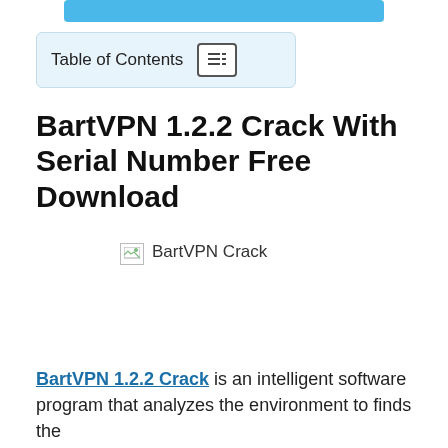[Figure (other): Blue download button at the top of the page]
Table of Contents
BartVPN 1.2.2 Crack With Serial Number Free Download
[Figure (other): Broken image placeholder labeled 'BartVPN Crack']
BartVPN 1.2.2 Crack is an intelligent software program that analyzes the environment to finds the